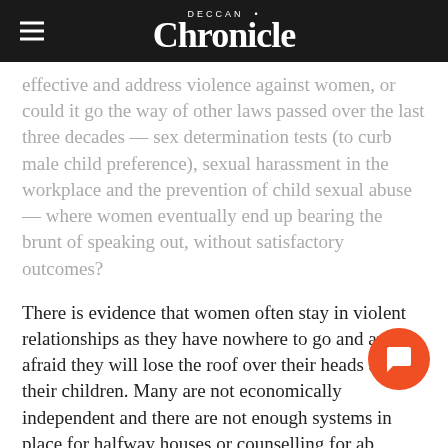Deccan Chronicle
effective and address violence against women, or could it go the way of other laws passed over the last three decades — sex determination tests (to curb male child preference), sexual harassment in the workplace and the prevention of child sexual abuse — where women eventually end up bearing the brunt of speaking out, without satisfactory outcomes?
There is evidence that women often stay in violent relationships as they have nowhere to go and are afraid they will lose the roof over their heads and their children. Many are not economically independent and there are not enough systems in place for halfway houses or counselling for ab women.
The call for criminalisation of marital rape stems from a social movement, with collective agency. Here